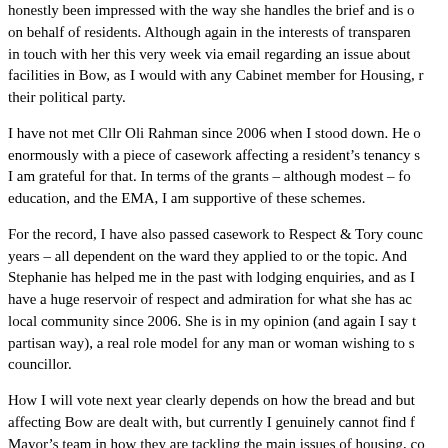honestly been impressed with the way she handles the brief and is on behalf of residents. Although again in the interests of transparency in touch with her this very week via email regarding an issue about facilities in Bow, as I would with any Cabinet member for Housing, their political party.
I have not met Cllr Oli Rahman since 2006 when I stood down. He enormously with a piece of casework affecting a resident's tenancy I am grateful for that. In terms of the grants – although modest – education, and the EMA, I am supportive of these schemes.
For the record, I have also passed casework to Respect & Tory years – all dependent on the ward they applied to or the topic. And Stephanie has helped me in the past with lodging enquiries, and as I have a huge reservoir of respect and admiration for what she has local community since 2006. She is in my opinion (and again I say partisan way), a real role model for any man or woman wishing to councillor.
How I will vote next year clearly depends on how the bread and affecting Bow are dealt with, but currently I genuinely cannot find Mayor's team in how they are tackling the main issues of housing, safety and education. As a resident and as a voter I am surely And, as a resident and voter surely I am allowed to mull over the decide who to give my vote to.